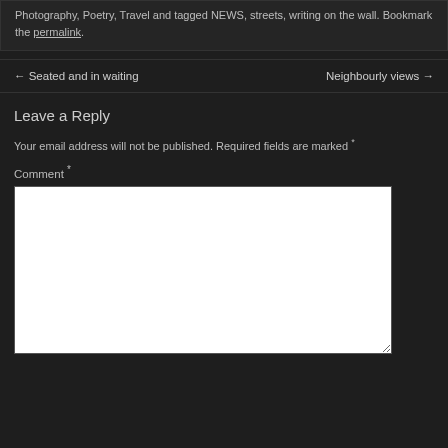Photography, Poetry, Travel and tagged NEWS, streets, writing on the wall. Bookmark the permalink.
← Seated and in waiting    Neighbourly views →
Leave a Reply
Your email address will not be published. Required fields are marked *
Comment *